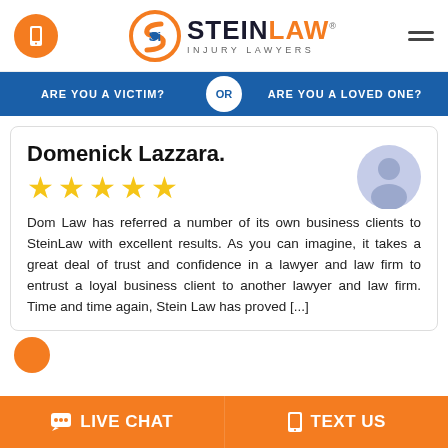[Figure (logo): Stein Law Injury Lawyers logo with orange S circle icon and phone icon button]
[Figure (infographic): Navigation bar with 'Are you a victim?' OR 'Are you a loved one?' in blue bar]
Domenick Lazzara.
[Figure (infographic): 5 gold stars rating]
Dom Law has referred a number of its own business clients to SteinLaw with excellent results. As you can imagine, it takes a great deal of trust and confidence in a lawyer and law firm to entrust a loyal business client to another lawyer and law firm. Time and time again, Stein Law has proved [...]
LIVE CHAT
TEXT US